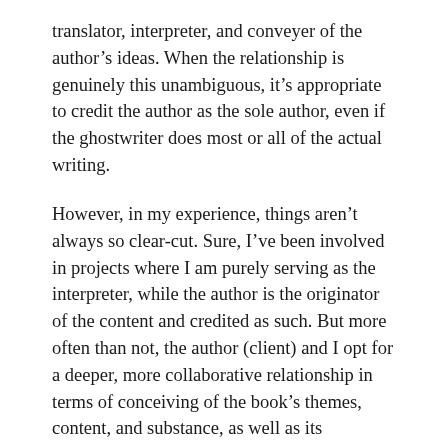translator, interpreter, and conveyer of the author's ideas. When the relationship is genuinely this unambiguous, it's appropriate to credit the author as the sole author, even if the ghostwriter does most or all of the actual writing.
However, in my experience, things aren't always so clear-cut. Sure, I've been involved in projects where I am purely serving as the interpreter, while the author is the originator of the content and credited as such. But more often than not, the author (client) and I opt for a deeper, more collaborative relationship in terms of conceiving of the book's themes, content, and substance, as well as its organization, development, and writing.
Doing so requires that I have substantial subject matter knowledge of my own, and that we have